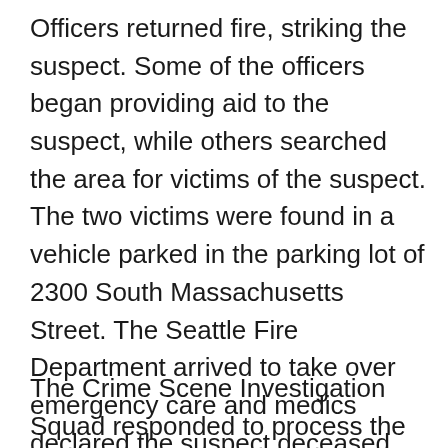Officers returned fire, striking the suspect. Some of the officers began providing aid to the suspect, while others searched the area for victims of the suspect. The two victims were found in a vehicle parked in the parking lot of 2300 South Massachusetts Street. The Seattle Fire Department arrived to take over emergency care and medics declared the suspect deceased. SFD medics transported both of the victims to Harborview Medical Center with life-threatening injuries. One of the shooting victims died during transport to the hospital.
The Crime Scene Investigation Squad responded to process the scene, and detectives from the Homicide Unit are investigating.